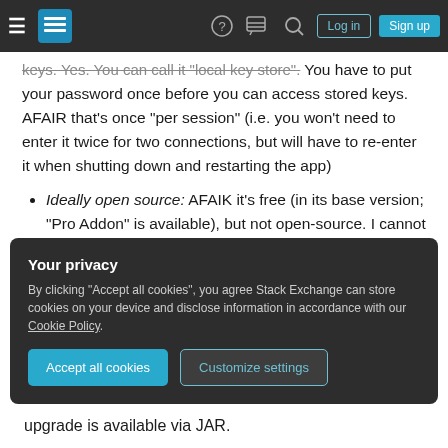Stack Exchange navigation bar with hamburger menu, logo, help, chat, search icons, Log in and Sign up buttons
keys. Yes. You can call it "local key store". You have to put your password once before you can access stored keys. AFAIR that's once "per session" (i.e. you won't need to enter it twice for two connections, but will have to re-enter it when shutting down and restarting the app)
Ideally open source: AFAIK it's free (in its base version; "Pro Addon" is available), but not open-source. I cannot tell the "restrictions" of the free version, as I
Your privacy
By clicking "Accept all cookies", you agree Stack Exchange can store cookies on your device and disclose information in accordance with our Cookie Policy.
upgrade is available via JAR.